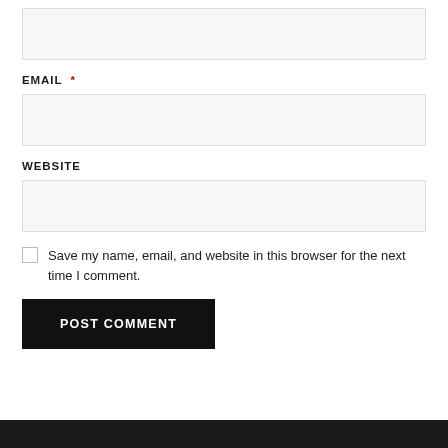[Figure (screenshot): Empty text input field (first field, no visible label in this crop — likely Name field)]
EMAIL *
[Figure (screenshot): Empty text input field for Email]
WEBSITE
[Figure (screenshot): Empty text input field for Website]
Save my name, email, and website in this browser for the next time I comment.
POST COMMENT